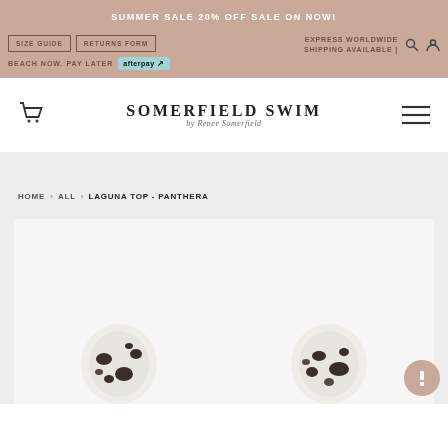SUMMER SALE 20% OFF SALE ON NOW!
SIZE GUIDE | RETURNS FORM | EXPRESS WORLDWIDE SHIPPING AVAILABLE | BEACH NOW. PAY LATER afterpay
SOMERFIELD SWIM by Renee Somerfield
HOME › ALL › LAGUNA TOP - PANTHERA
[Figure (photo): Product photo of Laguna Top in Panthera print - two bikini tops visible at bottom of image frame with black and white animal print pattern]